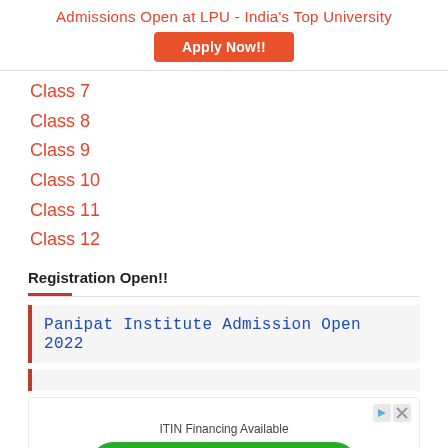Admissions Open at LPU - India's Top University
[Figure (other): Apply Now!! orange button]
Class 7
Class 8
Class 9
Class 10
Class 11
Class 12
Registration Open!!
Panipat Institute Admission Open 2022
[Figure (other): Advertisement: ITIN Financing Available with OPEN green button. Ad label at bottom left.]